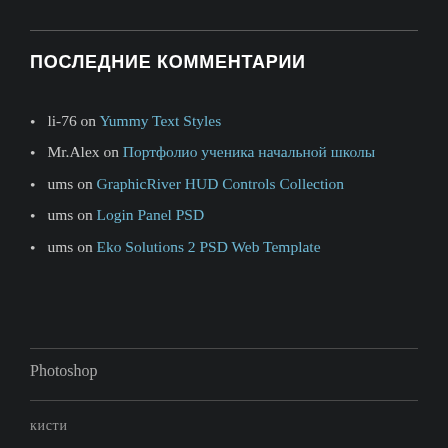ПОСЛЕДНИЕ КОММЕНТАРИИ
li-76 on Yummy Text Styles
Mr.Alex on Портфолио ученика начальной школы
ums on GraphicRiver HUD Controls Collection
ums on Login Panel PSD
ums on Eko Solutions 2 PSD Web Template
Photoshop
кисти